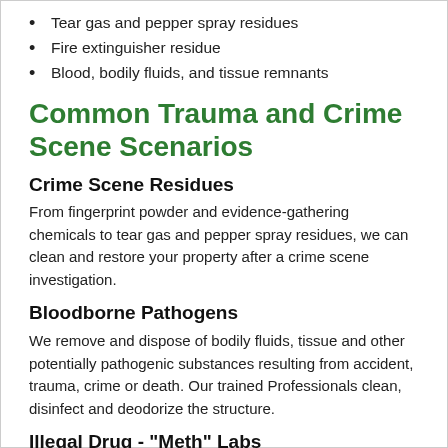Tear gas and pepper spray residues
Fire extinguisher residue
Blood, bodily fluids, and tissue remnants
Common Trauma and Crime Scene Scenarios
Crime Scene Residues
From fingerprint powder and evidence-gathering chemicals to tear gas and pepper spray residues, we can clean and restore your property after a crime scene investigation.
Bloodborne Pathogens
We remove and dispose of bodily fluids, tissue and other potentially pathogenic substances resulting from accident, trauma, crime or death. Our trained Professionals clean, disinfect and deodorize the structure.
Illegal Drug - "Meth" Labs
Many of the chemicals used in the production of illegal drugs such as "meth" are volatile and can leave harmful residues